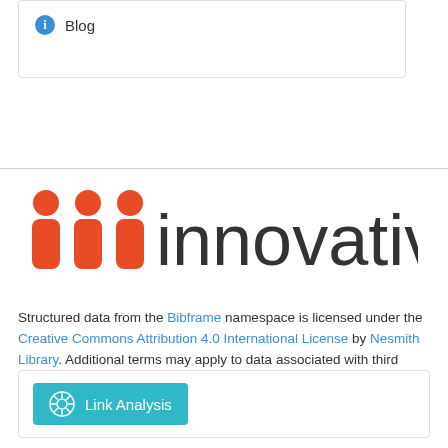Blog
[Figure (logo): Innovative Interfaces logo — three red/orange vertical bar people icons followed by the word 'innovative' in dark gray]
Structured data from the Bibframe namespace is licensed under the Creative Commons Attribution 4.0 International License by Nesmith Library. Additional terms may apply to data associated with third party namespaces.
Link Analysis